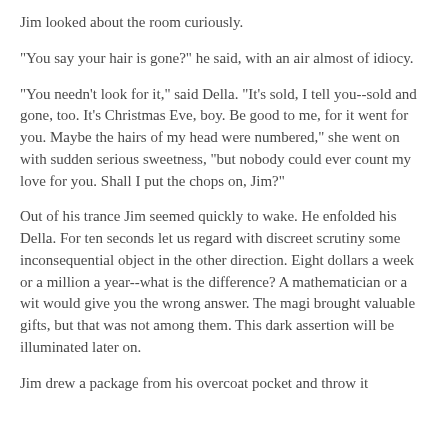Jim looked about the room curiously.
"You say your hair is gone?" he said, with an air almost of idiocy.
"You needn't look for it," said Della. "It's sold, I tell you--sold and gone, too. It's Christmas Eve, boy. Be good to me, for it went for you. Maybe the hairs of my head were numbered," she went on with sudden serious sweetness, "but nobody could ever count my love for you. Shall I put the chops on, Jim?"
Out of his trance Jim seemed quickly to wake. He enfolded his Della. For ten seconds let us regard with discreet scrutiny some inconsequential object in the other direction. Eight dollars a week or a million a year--what is the difference? A mathematician or a wit would give you the wrong answer. The magi brought valuable gifts, but that was not among them. This dark assertion will be illuminated later on.
Jim drew a package from his overcoat pocket and throw it